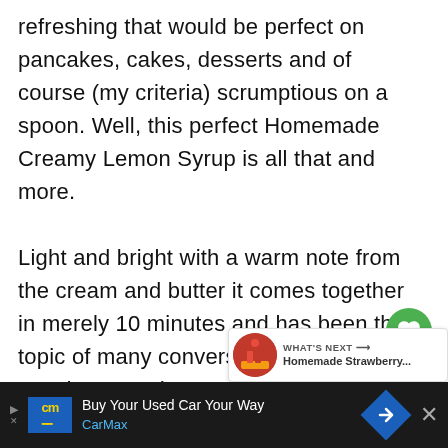refreshing that would be perfect on pancakes, cakes, desserts and of course (my criteria) scrumptious on a spoon. Well, this perfect Homemade Creamy Lemon Syrup is all that and more.

Light and bright with a warm note from the cream and butter it comes together in merely 10 minutes and has been the topic of many conversations. And... I may have made 3... or 4 batches of syrup already.
[Figure (other): Green heart/like button with count of 1, and a share button below it (UI overlay elements)]
[Figure (other): What's Next banner showing a thumbnail of Homemade Strawberry... with arrow]
[Figure (other): CarMax advertisement banner at bottom: Buy Your Used Car Your Way]